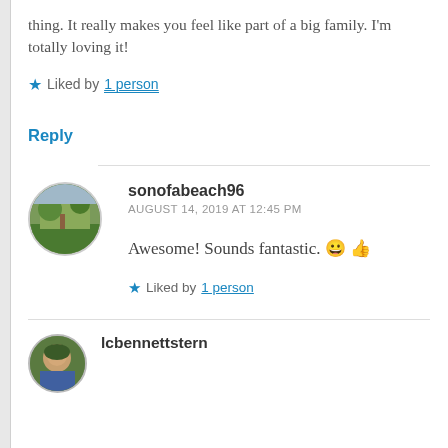thing. It really makes you feel like part of a big family. I'm totally loving it!
★ Liked by 1 person
Reply
sonofabeach96
AUGUST 14, 2019 AT 12:45 PM
Awesome! Sounds fantastic. 😀 👍
★ Liked by 1 person
lcbennettstern